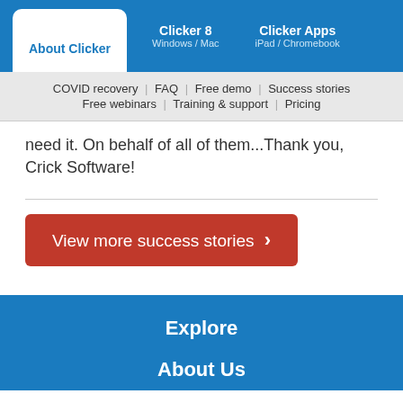About Clicker | Clicker 8 Windows / Mac | Clicker Apps iPad / Chromebook
COVID recovery | FAQ | Free demo | Success stories | Free webinars | Training & support | Pricing
need it. On behalf of all of them...Thank you, Crick Software!
View more success stories
Explore
About Us